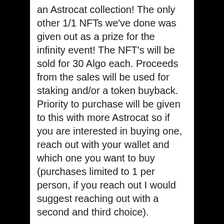an Astrocat collection! The only other 1/1 NFTs we've done was given out as a prize for the infinity event! The NFT's will be sold for 30 Algo each. Proceeds from the sales will be used for staking and/or a token buyback. Priority to purchase will be given to this with more Astrocat so if you are interested in buying one, reach out with your wallet and which one you want to buy (purchases limited to 1 per person, if you reach out I would suggest reaching out with a second and third choice).
There will be future rewards for holders of the NFT's that are tbd. This can include air drops, NFT staking, or other special things.